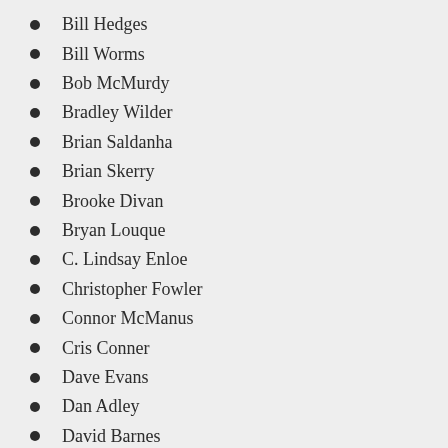Bill Hedges
Bill Worms
Bob McMurdy
Bradley Wilder
Brian Saldanha
Brian Skerry
Brooke Divan
Bryan Louque
C. Lindsay Enloe
Christopher Fowler
Connor McManus
Cris Conner
Dave Evans
Dan Adley
David Barnes
David Enos
Dawn Eden
Debra Boisvert
Derek Kostuck
Derrick Castle